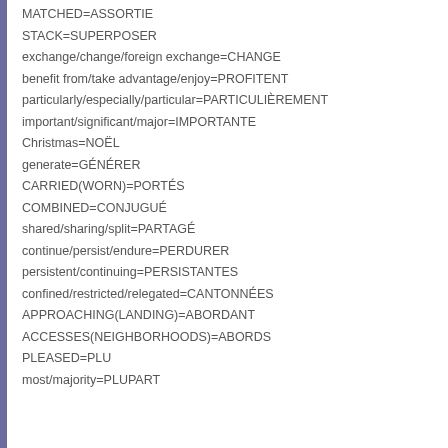MATCHED=ASSORTIE
STACK=SUPERPOSER
exchange/change/foreign exchange=CHANGE
benefit from/take advantage/enjoy=PROFITENT
particularly/especially/particular=PARTICULIÈREMENT
important/significant/major=IMPORTANTE
Christmas=NOËL
generate=GÉNÉRER
CARRIED(WORN)=PORTÉS
COMBINED=CONJUGUÉ
shared/sharing/split=PARTAGÉ
continue/persist/endure=PERDURER
persistent/continuing=PERSISTANTES
confined/restricted/relegated=CANTONNÉES
APPROACHING(LANDING)=ABORDANT
ACCESSES(NEIGHBORHOODS)=ABORDS
PLEASED=PLU
most/majority=PLUPART